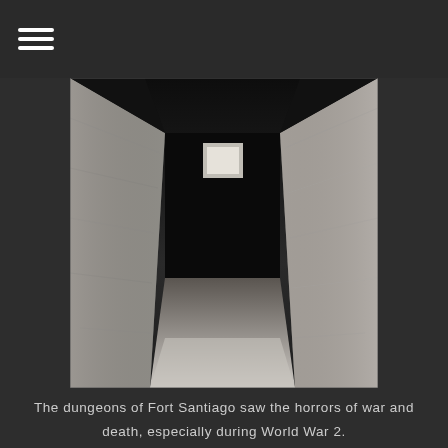≡
[Figure (photo): Interior view of a stone dungeon corridor at Fort Santiago, with rough stone walls on both sides leading to a dark passage with a small window visible in the background.]
The dungeons of Fort Santiago saw the horrors of war and death, especially during World War 2.